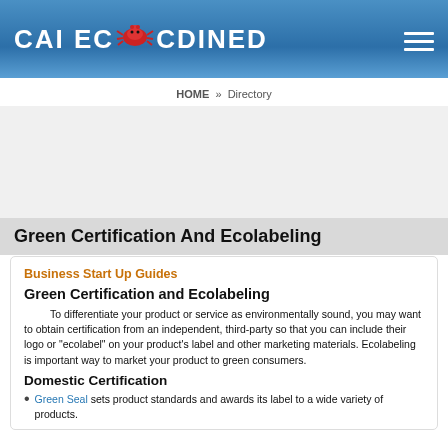[Figure (logo): CALEC website logo with red bug/crab mascot in white text on blue gradient header bar, with hamburger menu icon on right]
HOME » Directory
Green Certification And Ecolabeling
Business Start Up Guides
Green Certification and Ecolabeling
To differentiate your product or service as environmentally sound, you may want to obtain certification from an independent, third-party so that you can include their logo or "ecolabel" on your product's label and other marketing materials. Ecolabeling is important way to market your product to green consumers.
Domestic Certification
Green Seal sets product standards and awards its label to a wide variety of products.